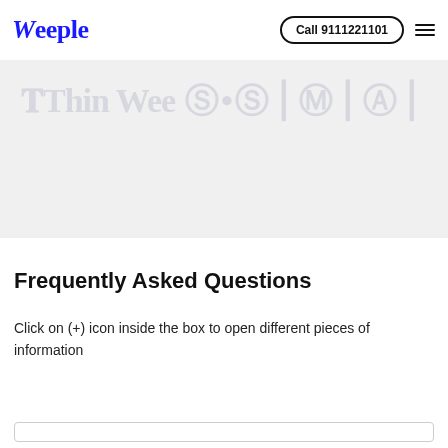Weeple | Call 9111221101
[Figure (screenshot): Faded/ghost hero banner with partially visible watermarked text in light gray on a light gray background]
Frequently Asked Questions
Click on (+) icon inside the box to open different pieces of information